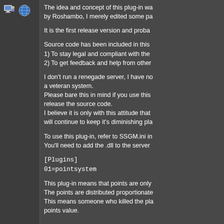[Figure (illustration): User avatar icon and globe/website icon in the left panel]
The idea and concept of this plug-in wa by Roshambo, I merely edited some pa
It is the first release version and proba
Source code has been included in this 1) To stay legal and compliant with the 2) To get feedback and help from other
I don't run a renegade server, I have no a veteran system. Please bare this in mind if you use this release the source code. I believe it is only with this attitude that will continue to keep it's diminishing pla
To use this plug-in, refer to SSGM.ini in You'll need to add the .dll to the server
[Plugins]
01=pointsystem
This plug-in means that points are only The points are distributed proportionate This means someone who killed the pla points value.